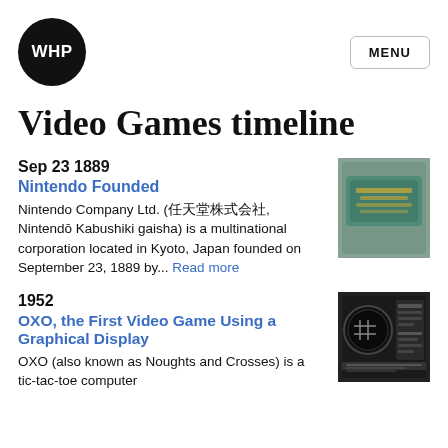[Figure (logo): WHP logo — black circle with white text 'WHP']
MENU
Video Games timeline
Sep 23 1889
Nintendo Founded
Nintendo Company Ltd. (任天堂株式会社, Nintendō Kabushiki gaisha) is a multinational corporation located in Kyoto, Japan founded on September 23, 1889 by... Read more
[Figure (photo): Old playing cards sign — teal/green metal sign reading 'PLAYING CARDS' on a stone wall]
1952
OXO, the First Video Game Using a Graphical Display
OXO (also known as Noughts and Crosses) is a tic-tac-toe computer
[Figure (photo): Screenshot of OXO game — black and white tic-tac-toe graphical display]